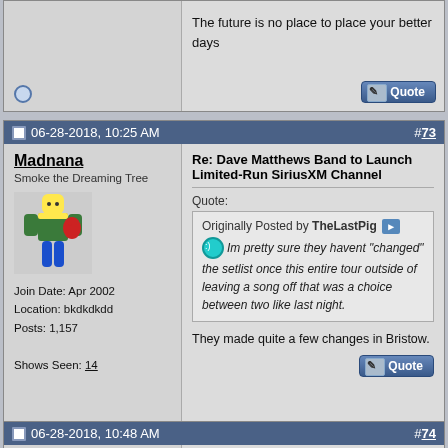The future is no place to place your better days
06-28-2018, 10:25 AM  #73
Madnana
Smoke the Dreaming Tree
Join Date: Apr 2002
Location: bkdkdkdd
Posts: 1,157
Shows Seen: 14
Re: Dave Matthews Band to Launch Limited-Run SiriusXM Channel
Quote:
Originally Posted by TheLastPig
Im pretty sure they havent "changed" the setlist once this entire tour outside of leaving a song off that was a choice between two like last night.
They made quite a few changes in Bristow.
06-28-2018, 10:48 AM  #74
TheLastPig
Re: Dave Matthews Band to Launch Limited-Run SiriusXM Channel